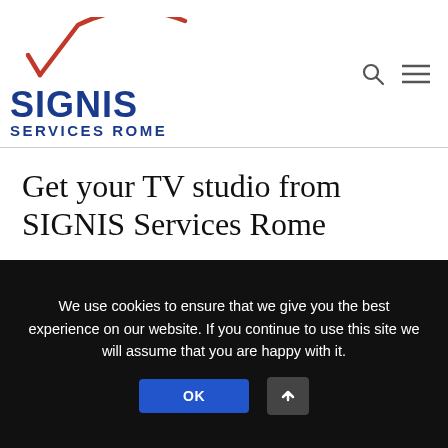[Figure (logo): SIGNIS Services Rome logo with red swoosh/checkmark above blue bold text SIGNIS and SERVICES ROME]
Get your TV studio from SIGNIS Services Rome
MARIAVICTORIALATERZA  FEBRUARY 5, 2021  NEWS  3 COMMENTS
We use cookies to ensure that we give you the best experience on our website. If you continue to use this site we will assume that you are happy with it.
OK